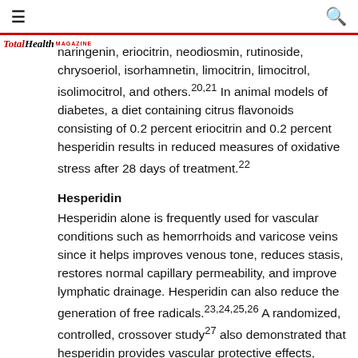≡  [TotalHealth Magazine logo]  🔍
naringenin, eriocitrin, neodiosmin, rutinoside, chrysoeriol, isorhamnetin, limocitrin, limocitrol, isolimocitrol, and others.20,21 In animal models of diabetes, a diet containing citrus flavonoids consisting of 0.2 percent eriocitrin and 0.2 percent hesperidin results in reduced measures of oxidative stress after 28 days of treatment.22
Hesperidin
Hesperidin alone is frequently used for vascular conditions such as hemorrhoids and varicose veins since it helps improves venous tone, reduces stasis, restores normal capillary permeability, and improve lymphatic drainage. Hesperidin can also reduce the generation of free radicals.23,24,25,26 A randomized, controlled, crossover study27 also demonstrated that hesperidin provides vascular protective effects, including protective effects on the microvascular endothelium.